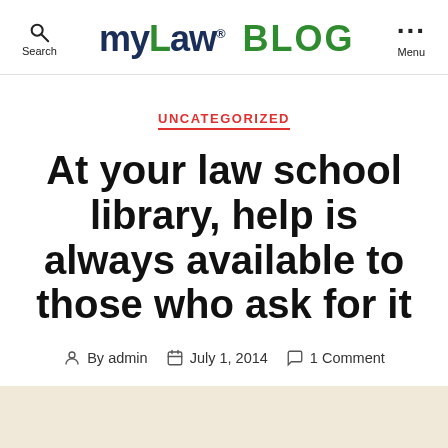myLaw® BLOG — Search | Menu
UNCATEGORIZED
At your law school library, help is always available to those who ask for it
By admin   July 1, 2014   1 Comment